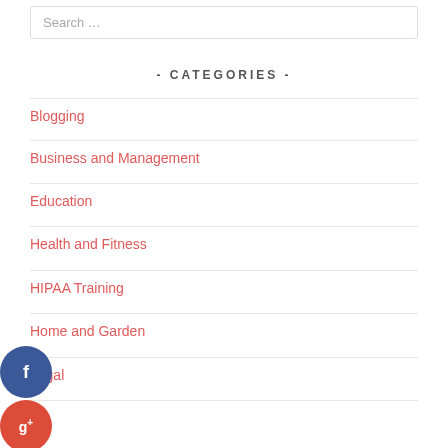Search …
- CATEGORIES -
Blogging
Business and Management
Education
Health and Fitness
HIPAA Training
Home and Garden
Legal